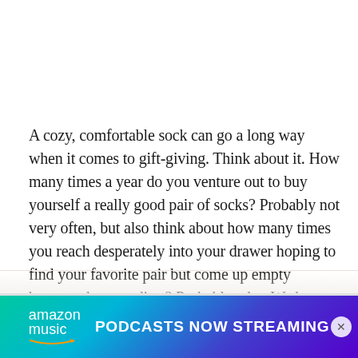A cozy, comfortable sock can go a long way when it comes to gift-giving. Think about it. How many times a year do you venture out to buy yourself a really good pair of socks? Probably not very often, but also think about how many times you reach desperately into your drawer hoping to find your favorite pair but come up empty because they are dirty? Probably a lot. We have collected some great options that will keep you in good gift standing and keep your favorite feet protected from the elements.
[Figure (other): Amazon Music advertisement banner with gradient background (teal to purple) showing 'amazon music' logo with smile arrow and text 'PODCASTS NOW STREAMING' in bold white letters. A close (X) button appears at the right.]